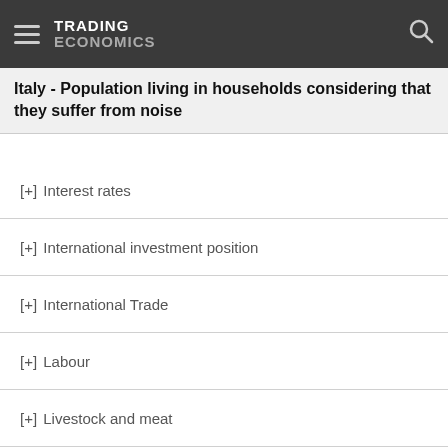TRADING ECONOMICS
Italy - Population living in households considering that they suffer from noise
[+] Interest rates
[+] International investment position
[+] International Trade
[+] Labour
[+] Livestock and meat
[+] Macroeconomic imbalance procedure indicators
[+] National accounts
[+] Peace, justice and strong institutions